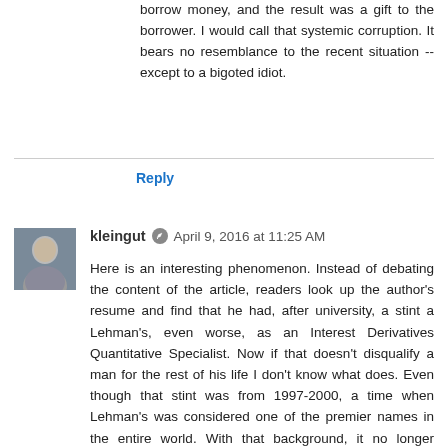borrow money, and the result was a gift to the borrower. I would call that systemic corruption. It bears no resemblance to the recent situation -- except to a bigoted idiot.
Reply
kleingut  April 9, 2016 at 11:25 AM
Here is an interesting phenomenon. Instead of debating the content of the article, readers look up the author's resume and find that he had, after university, a stint a Lehman's, even worse, as an Interest Derivatives Quantitative Specialist. Now if that doesn't disqualify a man for the rest of his life I don't know what does. Even though that stint was from 1997-2000, a time when Lehman's was considered one of the premier names in the entire world. With that background, it no longer matters that he also had stints at Bank of Montreal, Credit Agricole and Royal Bank of Canada, the latter being arguably the most solid bank on the North American continent.